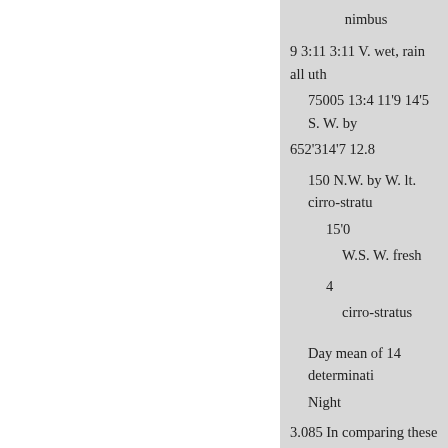nimbus
9 3:11 3:11 V. wet, rain all uth
75005 13:4 11'9 14'5 S. W. by 652'314'7 12.8
150 N.W. by W. lt. cirro-stratu
15'0
W.S. W. fresh
4
cirro-stratus
Day mean of 14 determinati Night
3.085 In comparing these resu
Vols, in mination of the carbo
Observer.